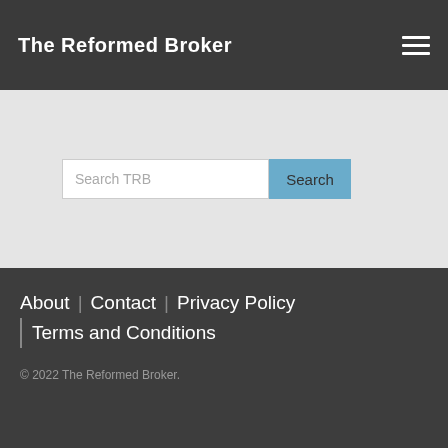The Reformed Broker
Search TRB
Search
About | Contact | Privacy Policy | Terms and Conditions
© 2022 The Reformed Broker.
[Figure (screenshot): Advertisement banner for CONL 1.5X Long COIN Daily ETF on Coinbase with a Learn More button and close button]